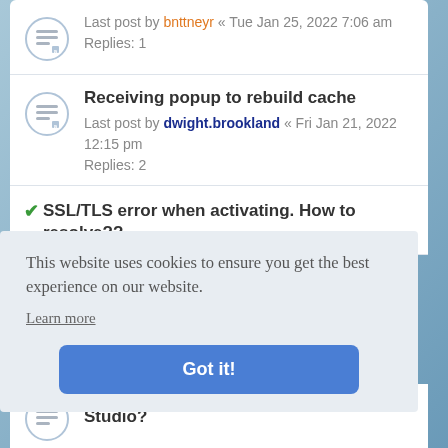Last post by bnttneyr « Tue Jan 25, 2022 7:06 am
Replies: 1
Receiving popup to rebuild cache
Last post by dwight.brookland « Fri Jan 21, 2022 12:15 pm
Replies: 2
✔ SSL/TLS error when activating. How to resolve??
This website uses cookies to ensure you get the best experience on our website.
Learn more
Got it!
Studio?